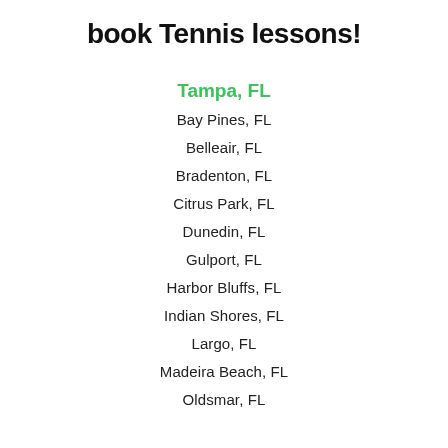book Tennis lessons!
Tampa, FL
Bay Pines, FL
Belleair, FL
Bradenton, FL
Citrus Park, FL
Dunedin, FL
Gulport, FL
Harbor Bluffs, FL
Indian Shores, FL
Largo, FL
Madeira Beach, FL
Oldsmar, FL